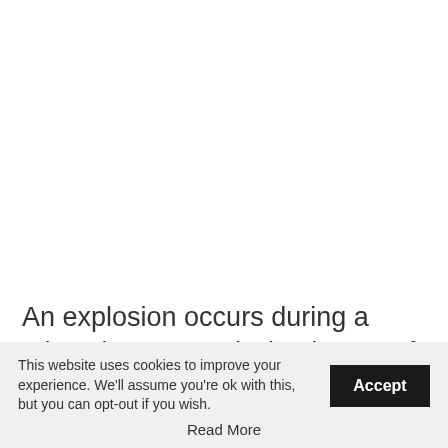[Figure (photo): White/blank area representing a photo of an explosion during a mine clearance mission in Zaporizhzhya region, Ukraine]
An explosion occurs during a mine clearance mission in one of the settlements hit by Russian artillery fire, Zaporizhzhya region, southeastern Ukraine on April 22
This website uses cookies to improve your experience. We'll assume you're ok with this, but you can opt-out if you wish.
Accept
Read More